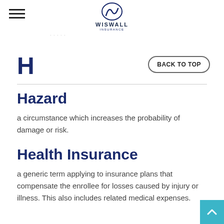WISWALL (logo)
H
Hazard
a circumstance which increases the probability of damage or risk.
Health Insurance
a generic term applying to insurance plans that compensate the enrollee for losses caused by injury or illness. This also includes related medical expenses.